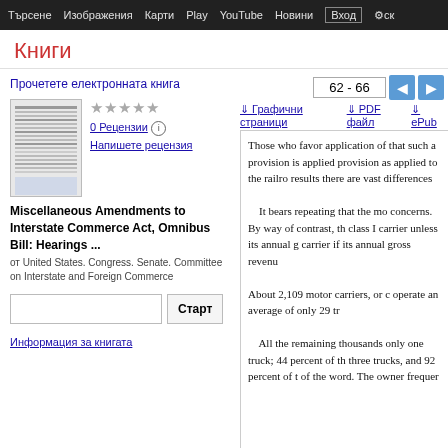Търсене  Изображения  Карти  Play  YouTube  Новини  Вход  ск
Книги
62 - 66
Графични страници  ↓ PDF файл  ↓ ePub
Прочетете електронната книга
[Figure (other): Book thumbnail/cover image placeholder]
★★★★★
0 Рецензии ⓘ
Напишете рецензия
Miscellaneous Amendments to Interstate Commerce Act, Omnibus Bill: Hearings ...
от United States. Congress. Senate. Committee on Interstate and Foreign Commerce
Старт
Информация за книгата
Those who favor application of that such a provision is applied provision as applied to the railro results there are vast differences

    It bears repeating that the mo concerns. By way of contrast, th class I carrier unless its annual g carrier if its annual gross revenu

About 2,109 motor carriers, or c operate an average of only 29 tr

    All the remaining thousands only one truck; 44 percent of th three trucks, and 92 percent of t of the word. The owner frequer